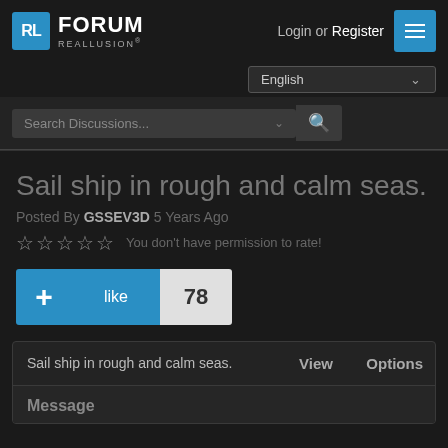RL FORUM REALLUSION Login or Register
English
Search Discussions...
Sail ship in rough and calm seas.
Posted By GSSEV3D 5 Years Ago
☆☆☆☆☆ You don't have permission to rate!
+ like 78
|  | View | Options |
| --- | --- | --- |
| Sail ship in rough and calm seas. | View | Options |
Message